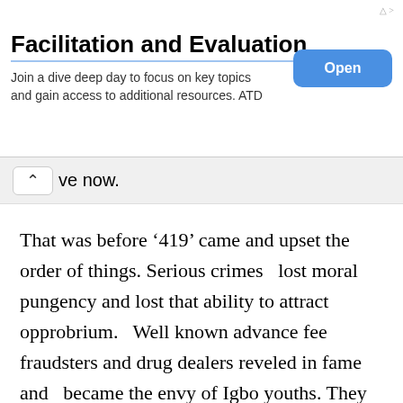[Figure (other): Advertisement banner for 'Facilitation and Evaluation' with title, body text 'Join a dive deep day to focus on key topics and gain access to additional resources. ATD', and a blue 'Open' button. Triangle and X icons in top right corner.]
ve now.
That was before ‘419’ came and upset the order of things. Serious crimes   lost moral pungency and lost that ability to attract opprobrium.   Well known advance fee   fraudsters and drug dealers reveled in fame and   became the envy of Igbo youths. They and their philanthropy undercut the industry and took away whatever virtue   was left in patience. Then many businesses left Onitsha and headed to Lagos where things could be conjured and decades could be reduced to days